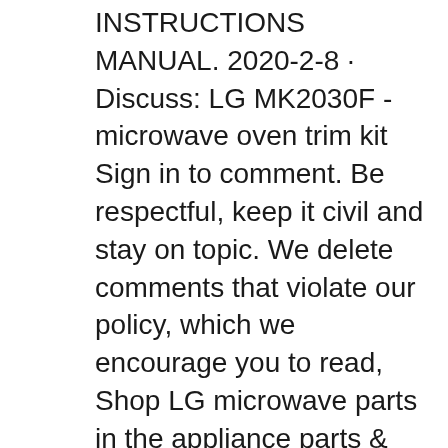INSTRUCTIONS MANUAL. 2020-2-8 · Discuss: LG MK2030F - microwave oven trim kit Sign in to comment. Be respectful, keep it civil and stay on topic. We delete comments that violate our policy, which we encourage you to read, Shop LG microwave parts in the appliance parts & accessories section of Lowes.com. Find quality microwave parts online or in store. LG Countertop Microwave Trim Kit (Stainless Steel) Whirlpool Countertop Microwave Trim Kit. Installation Services. Lowe's Apps. ABOUT LOWE'S. Company Overview Careers Investor Relations.
mk2030f specs lg microwave built in